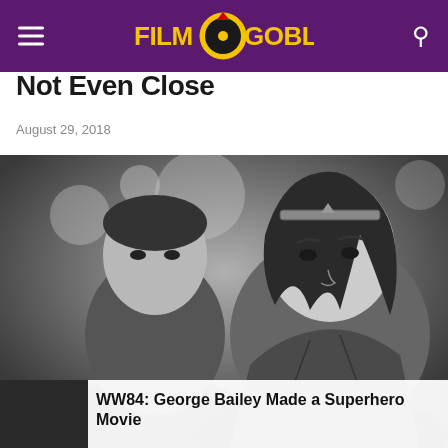Film Goblin
Not Even Close
August 29, 2018
[Figure (photo): Black and white photo of two superhero characters from Wonder Woman 1984 — a man in a superhero suit on the left and Wonder Woman (Gal Gadot) in her iconic tiara and armor on the right, looking over her shoulder.]
WW84: George Bailey Made a Superhero Movie